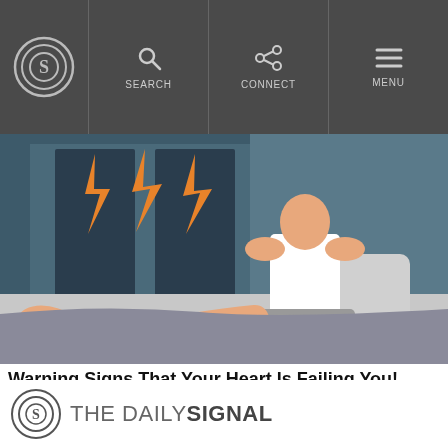The Daily Signal - Search, Connect, Menu navigation
[Figure (illustration): Illustration of a person sitting on a bed holding their leg, with orange lightning bolt symbols indicating pain. Background shows a dark room with a window.]
Warning Signs That Your Heart Is Failing You!
Search Ads
[Figure (other): Back to Top button - dark grey rounded rectangle with white text 'Back to Top' and upward chevron arrow]
THE DAILY SIGNAL logo